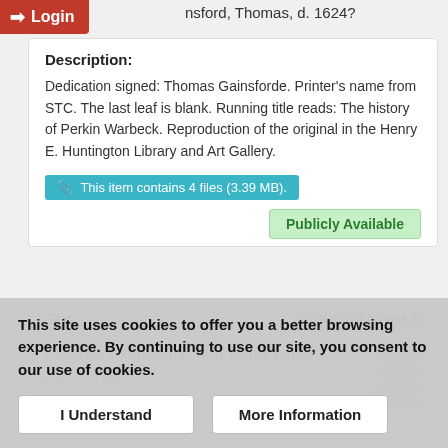Login
nsford, Thomas, d. 1624?
Description:
Dedication signed: Thomas Gainsforde. Printer's name from STC. The last leaf is blank. Running title reads: The history of Perkin Warbeck. Reproduction of the original in the Henry E. Huntington Library and Art Gallery.
This item contains 4 files (3.39 MB).
Publicly Available
Text
EEBO-TCP (Phase 1)
The true exemplary, and remarkable
history of the Earle of Tirone
This site uses cookies to offer you a better browsing experience. By continuing to use our site, you consent to our use of cookies.
I Understand
More Information